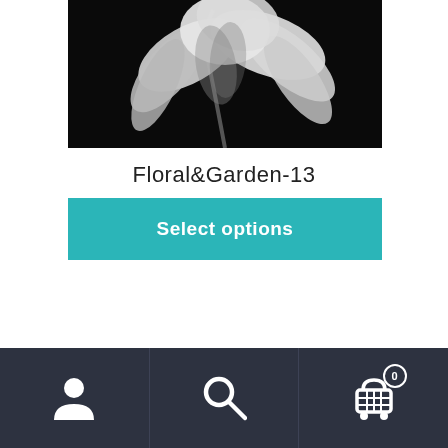[Figure (photo): Black and white close-up photo of a flower (tulip) with white petals on a black background]
Floral&Garden-13
Select options
[Figure (photo): Lush green forest with tall trees, viewed from below]
Navigation bar with user icon, search icon, and cart icon with badge showing 0